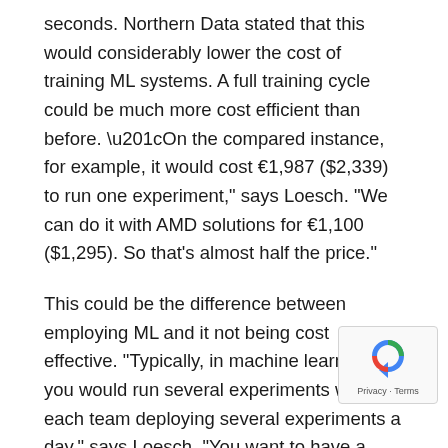seconds. Northern Data stated that this would considerably lower the cost of training ML systems. A full training cycle could be much more cost efficient than before. “On the compared instance, for example, it would cost €1,987 ($2,339) to run one experiment,” says Loesch. “We can do it with AMD solutions for €1,100 ($1,295). So that’s almost half the price.”
This could be the difference between employing ML and it not being cost effective. “Typically, in machine learning, you would run several experiments with each team deploying several experiments a day,” says Loesch. “You want to have a scalable solution. If you are spending two thousand Euros on an experiment when you do 20 a day, it can get quite expensive very fast.
Linear scaling with AMD Instinct GPUs